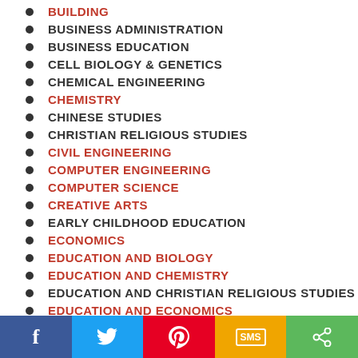BUILDING
BUSINESS ADMINISTRATION
BUSINESS EDUCATION
CELL BIOLOGY & GENETICS
CHEMICAL ENGINEERING
CHEMISTRY
CHINESE STUDIES
CHRISTIAN RELIGIOUS STUDIES
CIVIL ENGINEERING
COMPUTER ENGINEERING
COMPUTER SCIENCE
CREATIVE ARTS
EARLY CHILDHOOD EDUCATION
ECONOMICS
EDUCATION AND BIOLOGY
EDUCATION AND CHEMISTRY
EDUCATION AND CHRISTIAN RELIGIOUS STUDIES
EDUCATION AND ECONOMICS
EDUCATION AND ENGLISH LANGUAGE